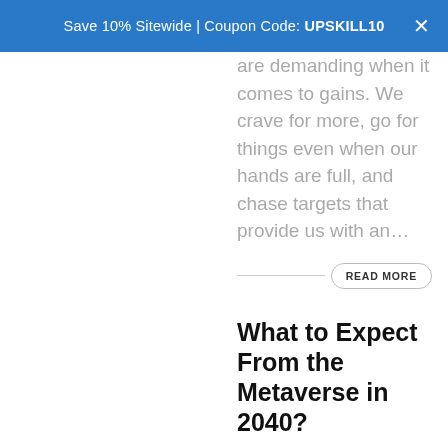Save 10% Sitewide | Coupon Code: UPSKILL10
are demanding when it comes to gains. We crave for more, go for things even when our hands are full, and chase targets that provide us with an…
READ MORE
What to Expect From the Metaverse in 2040?
/ in Metaverse